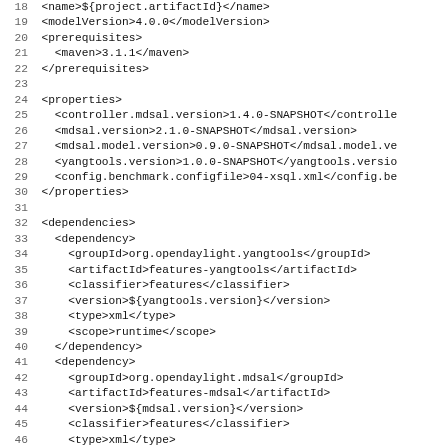Code listing lines 18-50: Maven POM XML configuration including modelVersion, prerequisites, properties (controller.mdsal.version, mdsal.version, mdsal.model.version, yangtools.version, config.benchmark.configfile), and dependencies (yangtools features, mdsal features, mdsal.model groupId).